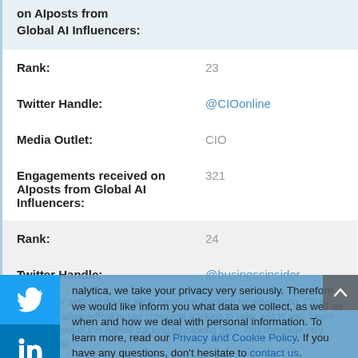on AIposts from Global AI Influencers:
| Rank: | 23 |
| Twitter Handle: | @CIOonline |
| Media Outlet: | CIO |
| Engagements received on AIposts from Global AI Influencers: | 321 |
| Rank: | 24 |
| Twitter Handle: | @businessinsider |
nalytica, we take your privacy very seriously. Therefore we would like inform you what data we collect, as well as when and how we deal with personal information. To learn more, read our Privacy and Cookie Policy. If you have any questions, don't hesitate to contact us.
Accept and Close ✕
Your browser settings do not allow cross-site tracking for advertising. Click on this page to allow AdRoll to use cross-site tracking to tailor ads to you. Learn more or opt out of this AdRoll tracking by clicking here. This message only appears once.